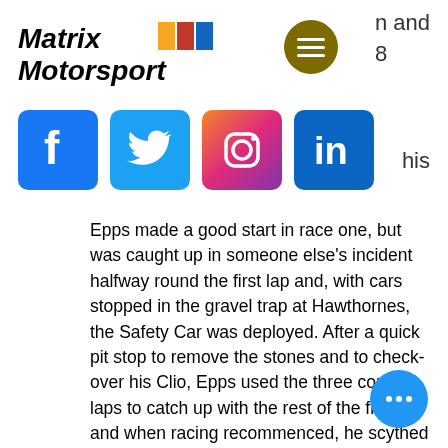[Figure (logo): Matrix Motorsport logo with colored bar graphic and italic bold text]
[Figure (other): Dark olive/gold circular hamburger menu button icon]
n and
8
[Figure (infographic): Row of four social media icons: Facebook (blue), Twitter (light blue), Instagram (pink/purple gradient), LinkedIn (blue)]
his
Epps made a good start in race one, but was caught up in someone else's incident halfway round the first lap and, with cars stopped in the gravel trap at Hawthornes, the Safety Car was deployed. After a quick pit stop to remove the stones and to check-over his Clio, Epps used the three convoy laps to catch up with the rest of the field and when racing recommenced, he scythed through the back of the pack and up to 10th. But it could well have been higher if it had not been for another incident on lap eight that caused a red flag and subsequent stoppage with seven laps to go.
[Figure (other): Blue circular floating action button with three white dots (ellipsis)]